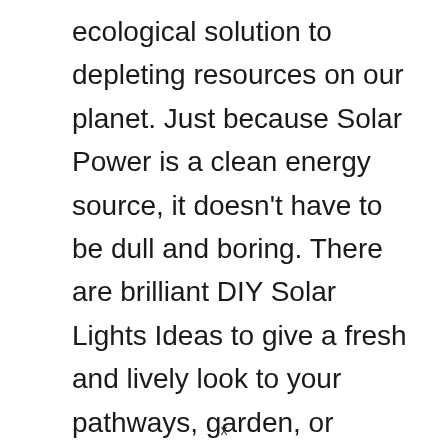ecological solution to depleting resources on our planet. Just because Solar Power is a clean energy source, it doesn't have to be dull and boring. There are brilliant DIY Solar Lights Ideas to give a fresh and lively look to your pathways, garden, or complete outdoors. You …
x